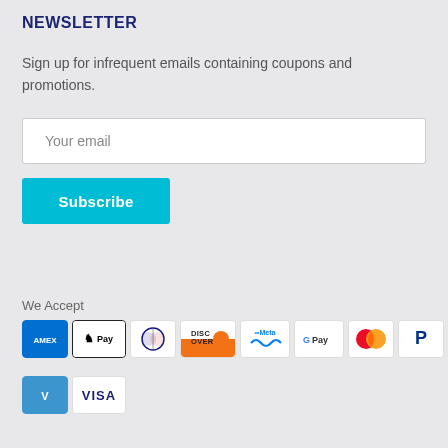NEWSLETTER
Sign up for infrequent emails containing coupons and promotions.
Your email
Subscribe
We Accept
[Figure (other): Payment method icons: AMEX, Apple Pay, Diners Club, Discover, Meta, Google Pay, Mastercard, PayPal, OPay, Venmo, Visa]